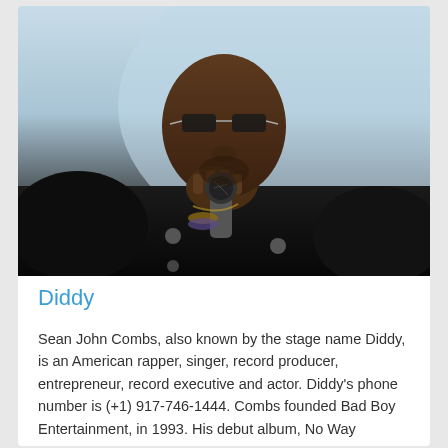[Figure (photo): A man wearing sunglasses and a black jacket holding a microphone close to his mouth, leaning forward, with a light blue background.]
Diddy
Sean John Combs, also known by the stage name Diddy, is an American rapper, singer, record producer, entrepreneur, record executive and actor. Diddy's phone number is (+1) 917-746-1444. Combs founded Bad Boy Entertainment, in 1993. His debut album, No Way